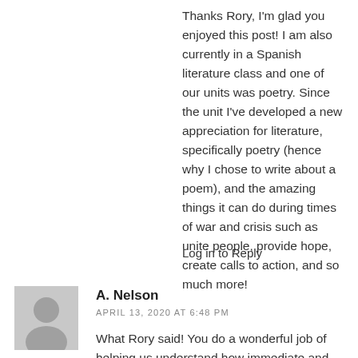Thanks Rory, I'm glad you enjoyed this post! I am also currently in a Spanish literature class and one of our units was poetry. Since the unit I've developed a new appreciation for literature, specifically poetry (hence why I chose to write about a poem), and the amazing things it can do during times of war and crisis such as unite people, provide hope, create calls to action, and so much more!
Log in to Reply
A. Nelson
APRIL 13, 2020 AT 6:48 PM
What Rory said! You do a wonderful job of helping us understand how immediate and personal the war was for its participants — which was just